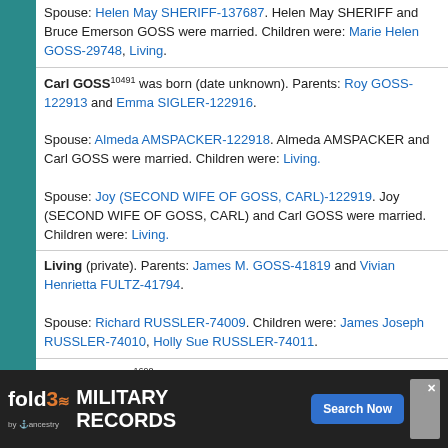Spouse: Helen May SHERIFF-137687. Helen May SHERIFF and Bruce Emerson GOSS were married. Children were: Marie Helen GOSS-29748, Living.
Carl GOSS^10491 was born (date unknown). Parents: Roy GOSS-122913 and Emma SIGLER-122916. Spouse: Almeda AMSPACKER-122918. Almeda AMSPACKER and Carl GOSS were married. Children were: Living. Spouse: Joy (SECOND WIFE OF GOSS, CARL)-122919. Joy (SECOND WIFE OF GOSS, CARL) and Carl GOSS were married. Children were: Living.
Living (private). Parents: James M. GOSS-41819 and Vivian Henrietta FULTZ-41794. Spouse: Richard RUSSLER-74009. Children were: James Joseph RUSSLER-74010, Holly Sue RUSSLER-74011.
Carol L. GOSS^1690 was born on 4 October 1940 in Alfarata, Decatur Twp., Mifflin Co., PA. She died on 16 March 2008 at the age of 67 in Lewistown, Mifflin Co., PA. She was buried on 20 March 2008 at Christian Missionary Alliance Cem. in Paintersville, Decatur Twp., Mifflin Co., PA.^1690 Carol was a ... nce ... Parents:
[Figure (other): fold3 by Ancestry advertisement banner for Military Records with Search Now button]